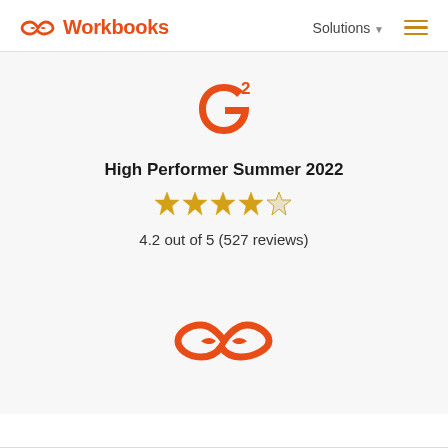Workbooks | Solutions
[Figure (logo): G2 logo - red G with superscript 2]
High Performer Summer 2022
[Figure (other): 4.2 out of 5 stars rating - four filled gold stars and one partial/empty star]
4.2 out of 5 (527 reviews)
[Figure (logo): Workbooks infinity loop logo in orange]